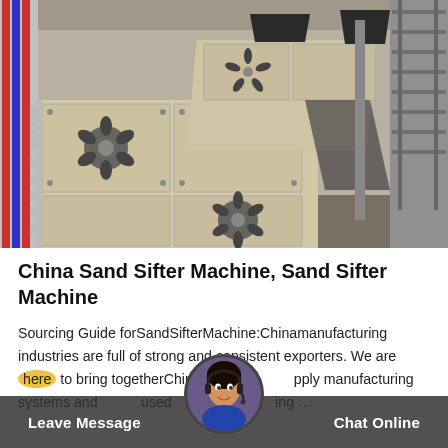[Figure (photo): Industrial sand sifter machines in a warehouse/factory setting — large cream/beige colored vibrating screen machines with bolted panels and fan-shaped eccentric weights visible, arranged in a row on a factory floor with red/blue striped columns on the left and grey shelving on the right.]
China Sand Sifter Machine, Sand Sifter Machine
Sourcing Guide forSandSifterMachine:Chinamanufacturing industries are full of strong and consistent exporters. We are here to bring togetherChinafactories supply manufacturing systems and … used … ssing industries … …
Leave Message    Chat Online